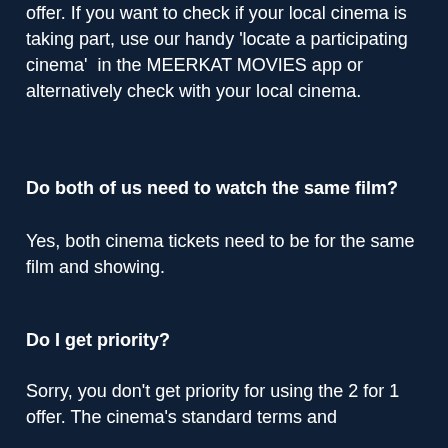offer. If you want to check if your local cinema is taking part, use our handy 'locate a participating cinema'  in the MEERKAT MOVIES app or alternatively check with your local cinema.
Do both of us need to watch the same film?
Yes, both cinema tickets need to be for the same film and showing.
Do I get priority?
Sorry, you don't get priority for using the 2 for 1 offer. The cinema's standard terms and